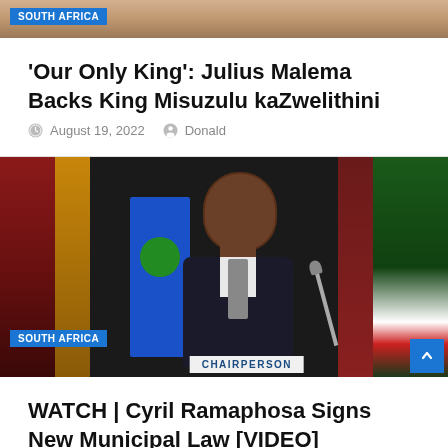[Figure (photo): Partial top image with SOUTH AFRICA tag badge visible at top]
'Our Only King': Julius Malema Backs King Misuzulu kaZwelithini
August 19, 2022  Donald
[Figure (photo): Cyril Ramaphosa seated at a table with microphone and CHAIRPERSON nameplate, flags in background, SOUTH AFRICA tag badge]
WATCH | Cyril Ramaphosa Signs New Municipal Law [VIDEO]
August 19, 2022  Donald